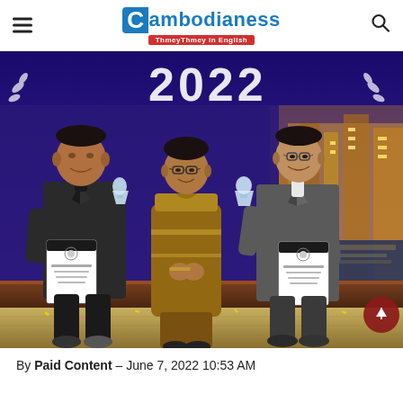Cambodianess - ThmeyThmey in English
[Figure (photo): Three people standing in front of a 2022 backdrop with a city skyline display. The person on the left is a man in a dark suit holding a crystal award trophy and a certificate. In the center is a woman wearing a traditional Cambodian golden outfit. On the right is a man in a grey suit holding a crystal award trophy and a certificate.]
By Paid Content – June 7, 2022 10:53 AM